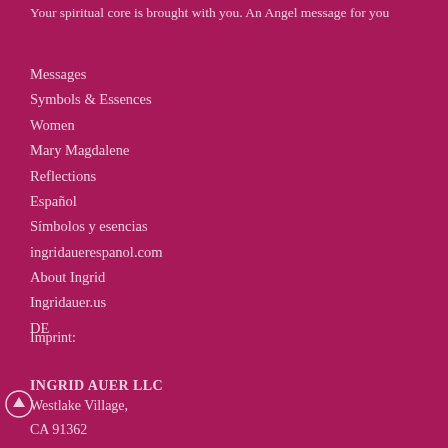Your spiritual core is brought with you. An Angel message for you
Messages
Symbols & Essences
Women
Mary Magdalene
Reflections
Español
Símbolos y esencias
ingridauerespanol.com
About Ingrid
Ingridauer.us
DE
Imprint:
INGRID AUER LLC
Westlake Village,
CA 91362